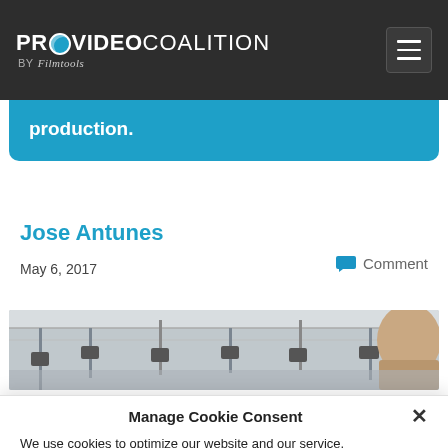PRO VIDEO COALITION by Filmtools
production.
Jose Antunes
May 6, 2017
Comment
[Figure (photo): A film production set showing lighting rigs on the ceiling and a person's head visible at the right edge]
Manage Cookie Consent
We use cookies to optimize our website and our service.
Accept